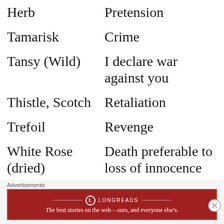| Herb/Plant | Meaning |
| --- | --- |
| Herb | Pretension |
| Tamarisk | Crime |
| Tansy (Wild) | I declare war against you |
| Thistle, Scotch | Retaliation |
| Trefoil | Revenge |
| White Rose (dried) | Death preferable to loss of innocence |
| Whortleberry | Treason |
| Wormwood | Absence |
Advertisements
[Figure (other): Longreads advertisement banner: 'The best stories on the web — ours, and everyone else's.']